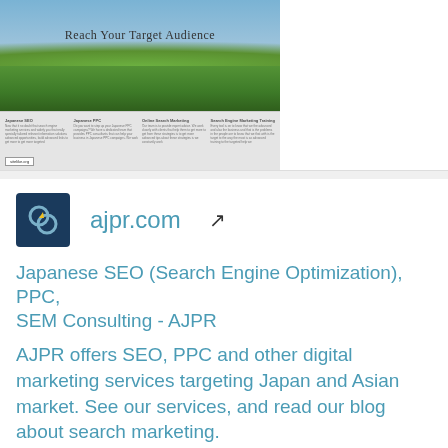[Figure (screenshot): Screenshot of ajpr.com website showing 'Reach Your Target Audience' banner with green plants and blue sky, plus navigation columns and sitelike.org watermark]
ajpr.com
Japanese SEO (Search Engine Optimization), PPC, SEM Consulting - AJPR
AJPR offers SEO, PPC and other digital marketing services targeting Japan and Asian market. See our services, and read our blog about search marketing.
Daily Traffic: 0
Website Worth: $ 10,000